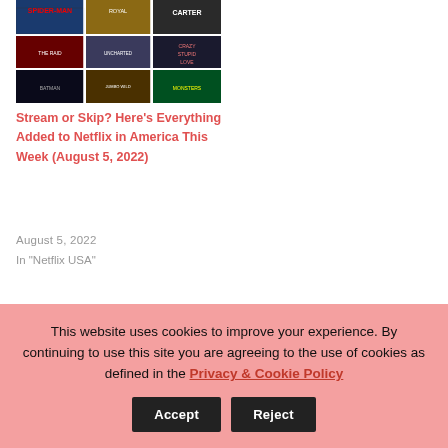[Figure (photo): Collage of movie/TV show thumbnails including Spider-Man, Uncharted, Carter, Crazy Stupid Love, and other films arranged in a grid]
Stream or Skip? Here’s Everything Added to Netflix in America This Week (August 5, 2022)
August 5, 2022
In "Netflix USA"
This website uses cookies to improve your experience. By continuing to use this site you are agreeing to the use of cookies as defined in the Privacy & Cookie Policy